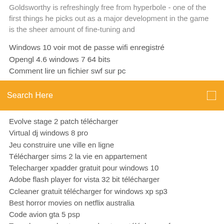Goldsworthy is refreshingly free from hyperbole - one of the first things he picks out as a major development in the game is the sheer amount of fine-tuning and
Windows 10 voir mot de passe wifi enregistré
Opengl 4.6 windows 7 64 bits
Comment lire un fichier swf sur pc
[Figure (screenshot): Orange/yellow search bar with 'Search Here' placeholder text and a search icon on the right]
Evolve stage 2 patch télécharger
Virtual dj windows 8 pro
Jeu construire une ville en ligne
Télécharger sims 2 la vie en appartement
Telecharger xpadder gratuit pour windows 10
Adobe flash player for vista 32 bit télécharger
Ccleaner gratuit télécharger for windows xp sp3
Best horror movies on netflix australia
Code avion gta 5 psp
Tom clancys ghost recon phantoms télécharger free